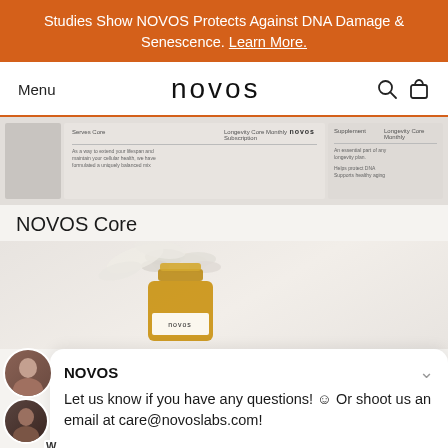Studies Show NOVOS Protects Against DNA Damage & Senescence. Learn More.
[Figure (screenshot): NOVOS website navigation bar with Menu text on left, NOVOS logo in center, search and cart icons on right]
[Figure (photo): NOVOS product packaging strip showing folded product inserts with NOVOS branding]
NOVOS Core
[Figure (photo): Open amber supplement bottle with white capsules spilling out, NOVOS label on bottle, on neutral background]
NOVOS
Let us know if you have any questions! ☺ Or shoot us an email at care@novoslabs.com!